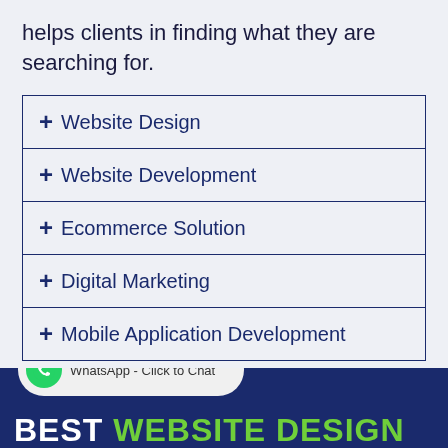helps clients in finding what they are searching for.
+ Website Design
+ Website Development
+ Ecommerce Solution
+ Digital Marketing
+ Mobile Application Development
WhatsApp - Click to Chat
BEST WEBSITE DESIGN